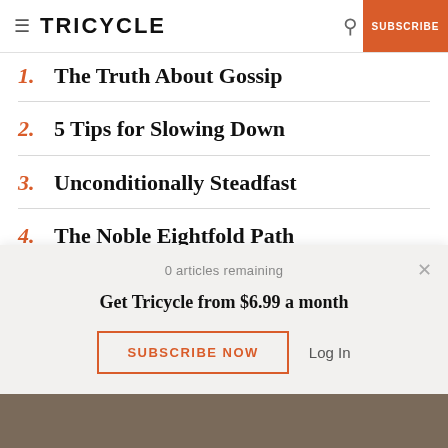TRICYCLE | SUBSCRIBE
1. The Truth About Gossip
2. 5 Tips for Slowing Down
3. Unconditionally Steadfast
4. The Noble Eightfold Path
5. Working with the Five
0 articles remaining
Get Tricycle from $6.99 a month
SUBSCRIBE NOW
Log In